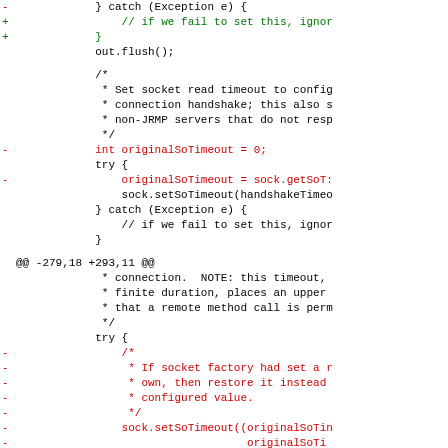Diff/patch view of Java source code showing changes around socket timeout handling. Lines include removals (-) and additions (+) with context lines, plus a hunk header @@ -279,18 +293,11 @@
} catch (Exception e) {
    // if we fail to set this, ignor
}
out.flush();

/*
 * Set socket read timeout to config
 * connection handshake; this also s
 * non-JRMP servers that do not resp
 */
int originalSoTimeout = 0;
try {
    originalSoTimeout = sock.getSoT:
    sock.setSoTimeout(handshakeTimeo
} catch (Exception e) {
    // if we fail to set this, ignor
}
@@ -279,18 +293,11 @@
* connection.  NOTE: this timeout,
* finite duration, places an upper
* that a remote method call is perm
*/
try {
    /*
     * If socket factory had set a r
     * own, then restore it instead
     * configured value.
     */
    sock.setSoTimeout((originalSoTin
                       originalSoTi